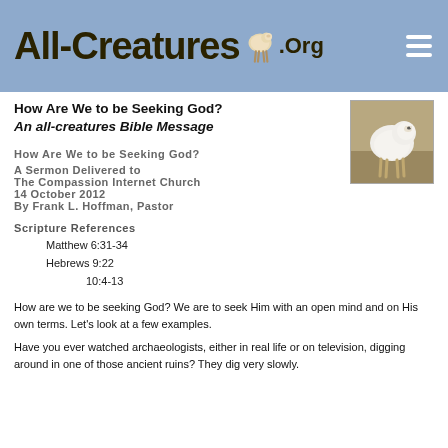All-Creatures.org
How Are We to be Seeking God?
An all-creatures Bible Message
[Figure (photo): A white lamb standing, photographed outdoors]
How Are We to be Seeking God?
A Sermon Delivered to
The Compassion Internet Church
14 October 2012
By Frank L. Hoffman, Pastor
Scripture References
Matthew 6:31-34
Hebrews 9:22
10:4-13
How are we to be seeking God? We are to seek Him with an open mind and on His own terms. Let's look at a few examples.
Have you ever watched archaeologists, either in real life or on television, digging around in one of those ancient ruins? They dig very slowly.